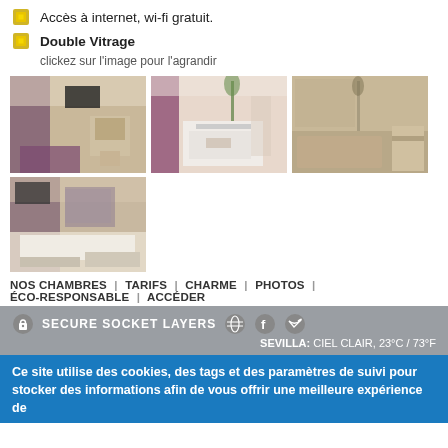Accès à internet, wi-fi gratuit.
Double Vitrage
clickez sur l'image pour l'agrandir
[Figure (photo): Hotel room with purple curtains, TV on wall, desk, hardwood floor]
[Figure (photo): Room with purple curtain, white console table, hardwood floor]
[Figure (photo): Bathroom with bathtub, shower, sink, marble walls]
[Figure (photo): Hotel bedroom with two beds, mirror, purple curtains]
NOS CHAMBRES  |  TARIFS  |  CHARME  |  PHOTOS  |  ÉCO-RESPONSABLE  |  ACCÉDER
SECURE SOCKET LAYERS  SEVILLA: CIEL CLAIR, 23°C / 73°F
Ce site utilise des cookies, des tags et des paramètres de suivi pour stocker des informations afin de vous offrir une meilleure expérience de